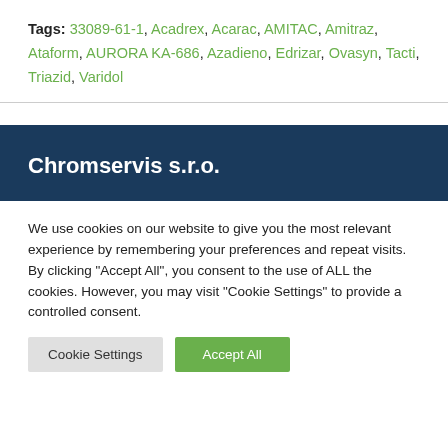Tags: 33089-61-1, Acadrex, Acarac, AMITAC, Amitraz, Ataform, AURORA KA-686, Azadieno, Edrizar, Ovasyn, Tacti, Triazid, Varidol
Chromservis s.r.o.
We use cookies on our website to give you the most relevant experience by remembering your preferences and repeat visits. By clicking "Accept All", you consent to the use of ALL the cookies. However, you may visit "Cookie Settings" to provide a controlled consent.